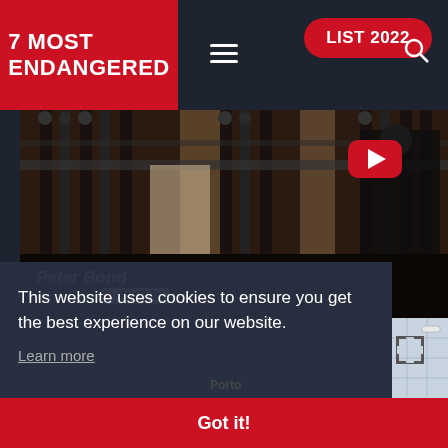7 MOST ENDANGERED
LIST 2022
[Figure (screenshot): Website screenshot showing '7 Most Endangered' heritage organization header with red logo block, LIST 2022 pill button, hamburger menu, search icon, and a video thumbnail of iron railings with a Peter Bond YouTube video overlay]
Peter Bond
Watch on YouTube
This website uses cookies to ensure you get the best experience on our website.
Learn more
Got it!